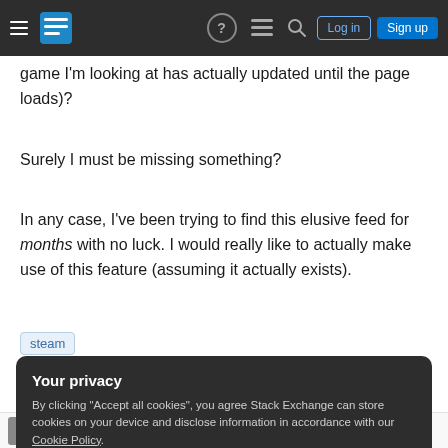Stack Exchange navigation bar with hamburger menu, logo, help, chat, search icons, Log in and Sign up buttons
game I'm looking at has actually updated until the page loads)?
Surely I must be missing something?
In any case, I've been trying to find this elusive feed for months with no luck. I would really like to actually make use of this feature (assuming it actually exists).
steam
Your privacy
By clicking "Accept all cookies", you agree Stack Exchange can store cookies on your device and disclose information in accordance with our Cookie Policy.
Accept all cookies   Customize settings
Braden Best 772 11 48 16